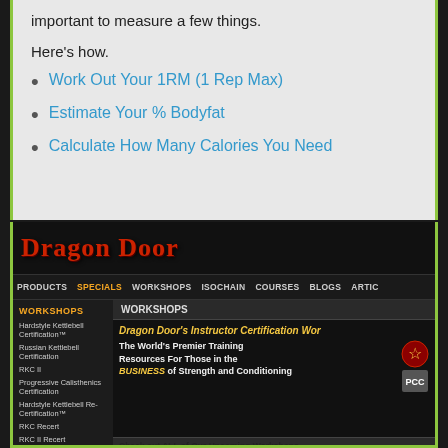important to measure a few things.
Here's how.
Work Out Your 1RM (1 Rep Max)
Estimate Your % Bodyfat
Calculate How Many Calories You Need
[Figure (screenshot): Screenshot of the Dragon Door website showing the Workshops section with sidebar navigation links including Hardstyle Kettlebell Certification, Russian Kettlebell Certification, RKC II, Progressive Calisthenics Certification, Hardstyle Kettlebell Re-Certification, RKC Recert, RKC II Recert, Progressive. Main area shows Dragon Door's Instructor Certification Workshop banner with text 'The World's Premier Training Resources For Those in the BUSINESS of Strength and Conditioning', followed by a Check out ALL of Our Upcoming Workshops section with a FILTER BY dropdown.]